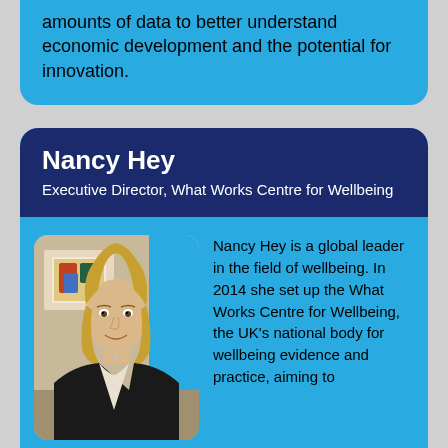amounts of data to better understand economic development and the potential for innovation.
Nancy Hey
Executive Director, What Works Centre for Wellbeing
[Figure (photo): Photo of Nancy Hey, a woman with short blonde hair wearing a black blazer, smiling, with artwork visible in the background.]
Nancy Hey is a global leader in the field of wellbeing. In 2014 she set up the What Works Centre for Wellbeing, the UK's national body for wellbeing evidence and practice, aiming to